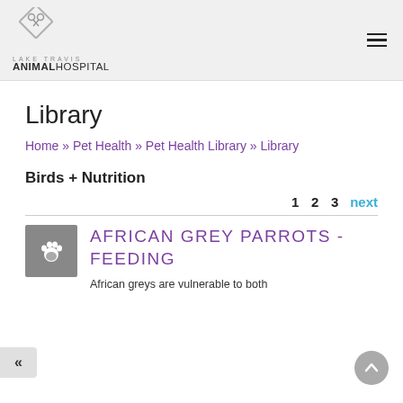LAKE TRAVIS ANIMAL HOSPITAL
Library
Home » Pet Health » Pet Health Library » Library
Birds + Nutrition
1 2 3 next
[Figure (logo): Paw print icon in grey square]
AFRICAN GREY PARROTS - FEEDING
African greys are vulnerable to both